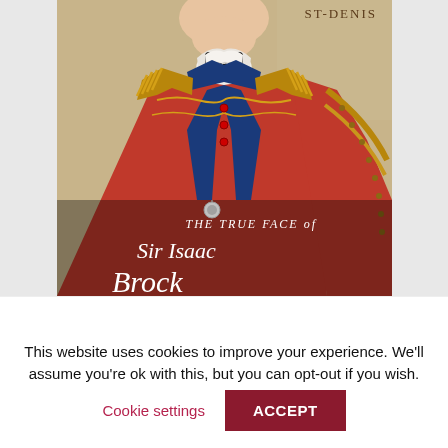[Figure (illustration): Book cover showing a portrait painting of a man in a red military uniform with blue and gold trim, white lace cravat, set against a tan background. Text on cover reads 'ST-DENIS' at top right, and 'THE TRUE FACE of Sir Isaac Brock' overlaid at the bottom in white script and serif text.]
This website uses cookies to improve your experience. We'll assume you're ok with this, but you can opt-out if you wish.
Cookie settings
ACCEPT